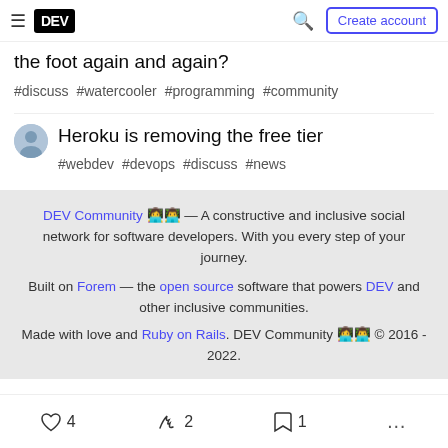DEV — Create account
the foot again and again?
#discuss #watercooler #programming #community
Heroku is removing the free tier
#webdev #devops #discuss #news
DEV Community 👩‍💻👨‍💻 — A constructive and inclusive social network for software developers. With you every step of your journey.
Built on Forem — the open source software that powers DEV and other inclusive communities.
Made with love and Ruby on Rails. DEV Community 👩‍💻👨‍💻 © 2016 - 2022.
♡ 4   🔥 2   🔖 1   ...